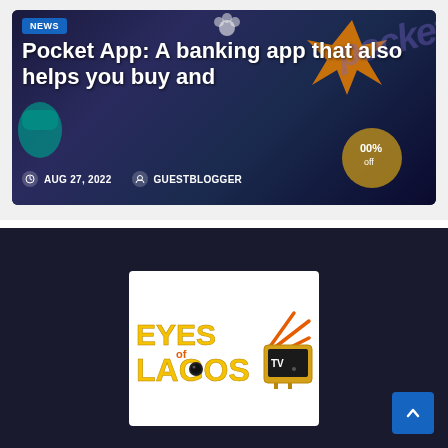[Figure (screenshot): Article card with dark blue background showing 'NEWS' badge, article title 'Pocket App: A banking app that also helps you buy and', date 'AUG 27, 2022', and author 'GUESTBLOGGER']
Pocket App: A banking app that also helps you buy and
AUG 27, 2022   GUESTBLOGGER
[Figure (logo): Eyes of Lagos TV logo on white background — yellow stylized text 'EYES of LAGOS' with 'TV' and orange antenna/lightning bolt graphic]